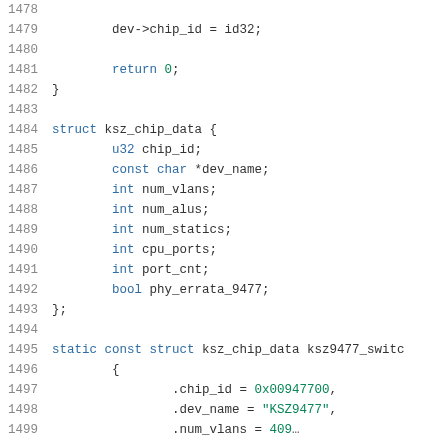[Figure (screenshot): Source code listing showing C code snippet with line numbers 1478-1499. Contains a struct definition for ksz_chip_data and a static const struct initialization. Keywords in blue, string/numeric literals in green.]